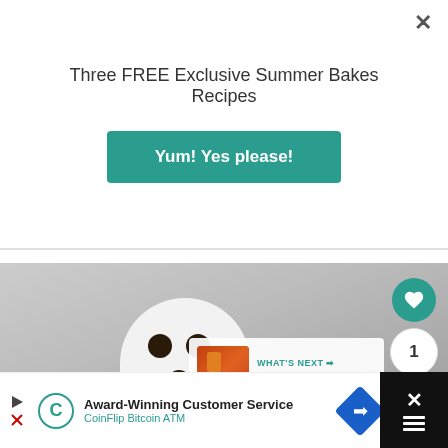Three FREE Exclusive Summer Bakes Recipes
[Figure (screenshot): Teal 'Yum! Yes please!' call-to-action button]
[Figure (photo): Ghost-shaped cupcake with chocolate chip eyes and mouth on white frosting, on a marble surface]
[Figure (screenshot): What's Next panel showing Bonfire Cupcakes thumbnail and label with teal arrow]
[Figure (screenshot): Advertisement bar: Award-Winning Customer Service - CoinFlip Bitcoin ATM]